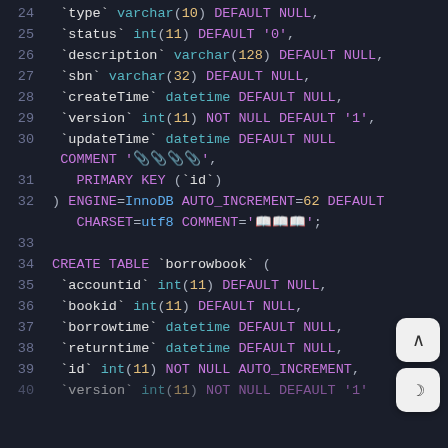[Figure (screenshot): SQL code snippet showing MySQL CREATE TABLE statements with syntax highlighting on dark background. Lines 24-40 visible, showing column definitions and table creation for 'borrowbook' table.]